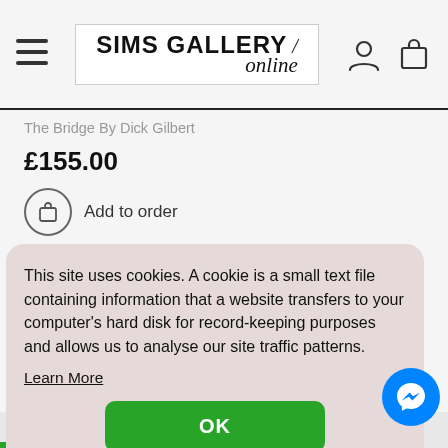[Figure (logo): Sims Gallery Online logo in a white bordered box]
The Bridge By Dick Gilbert
£155.00
Add to order
This site uses cookies. A cookie is a small text file containing information that a website transfers to your computer's hard disk for record-keeping purposes and allows us to analyse our site traffic patterns.
Learn More
OK